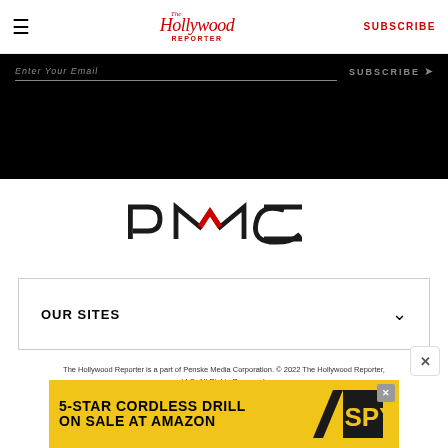☰  The Hollywood Reporter  SUBSCRIBE
[Figure (screenshot): Black email subscription banner with 'Enter Your Email' input and 'SUBSCRIBE >' button in grey text on black background]
[Figure (logo): PMC (Penske Media Corporation) logo in black with red accent on the M, centered on white background]
OUR SITES
The Hollywood Reporter is a part of Penske Media Corporation. © 2022 The Hollywood Reporter, LLC. All Rights Reserved. THE HOLLYWOOD REPORTER is a registered trademark of The Hollywood Reporter, LLC. Powered by WordPress.com VIP
[Figure (screenshot): Advertisement banner: '5-STAR CORDLESS DRILL ON SALE AT AMAZON' with SPY logo on yellow background]